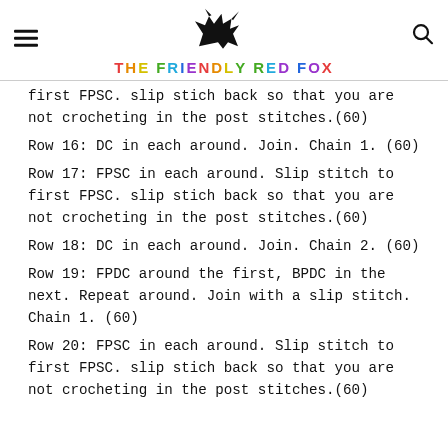THE FRIENDLY RED FOX
first FPSC. slip stich back so that you are not crocheting in the post stitches.(60)
Row 16: DC in each around. Join. Chain 1. (60)
Row 17: FPSC in each around. Slip stitch to first FPSC. slip stich back so that you are not crocheting in the post stitches.(60)
Row 18: DC in each around. Join. Chain 2. (60)
Row 19: FPDC around the first, BPDC in the next. Repeat around. Join with a slip stitch. Chain 1. (60)
Row 20: FPSC in each around. Slip stitch to first FPSC. slip stich back so that you are not crocheting in the post stitches.(60)